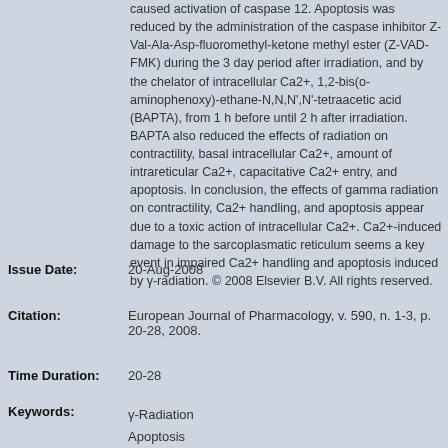caused activation of caspase 12. Apoptosis was reduced by the administration of the caspase inhibitor Z-Val-Ala-Asp-fluoromethyl-ketone methyl ester (Z-VAD-FMK) during the 3 day period after irradiation, and by the chelator of intracellular Ca2+, 1,2-bis(o-aminophenoxy)-ethane-N,N,N',N'-tetraacetic acid (BAPTA), from 1 h before until 2 h after irradiation. BAPTA also reduced the effects of radiation on contractility, basal intracellular Ca2+, amount of intrareticular Ca2+, capacitative Ca2+ entry, and apoptosis. In conclusion, the effects of gamma radiation on contractility, Ca2+ handling, and apoptosis appear due to a toxic action of intracellular Ca2+. Ca2+-induced damage to the sarcoplasmatic reticulum seems a key event in impaired Ca2+ handling and apoptosis induced by γ-radiation. © 2008 Elsevier B.V. All rights reserved.
Issue Date: 20-Aug-2008
Citation: European Journal of Pharmacology, v. 590, n. 1-3, p. 20-28, 2008.
Time Duration: 20-28
Keywords: γ-Radiation
Apoptosis
Calcium